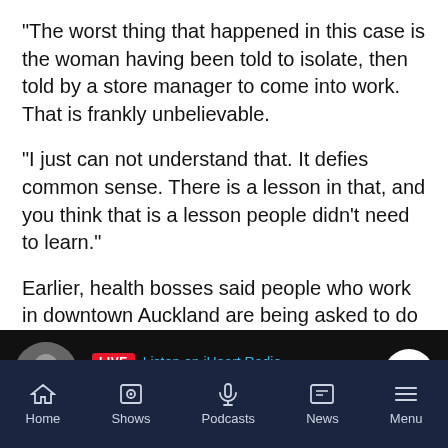"The worst thing that happened in this case is the woman having been told to isolate, then told by a store manager to come into work. That is frankly unbelievable.
"I just can not understand that. It defies common sense. There is a lesson in that, and you think that is a lesson people didn't need to learn."
Earlier, health bosses said people who work in downtown Auckland are being asked to do their jobs from home if possible tomorrow.
Director of public health Caroline McElnay said there has been a detailed interview with the confirmed case.
[Figure (screenshot): iHeart Radio live radio bar showing Marcus Lush Nights with a LIVE badge and Listen on iHeart Radio link, play button on the right.]
[Figure (screenshot): Bottom navigation bar with icons for Home, Shows, Podcasts, News, Menu on a dark navy background.]